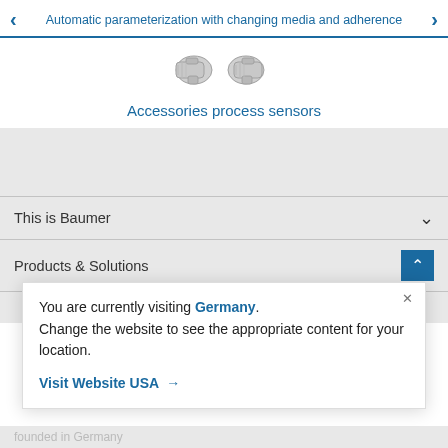Automatic parameterization with changing media and adherence
[Figure (photo): Two metallic threaded sensor fittings/adapters photographed against white background]
Accessories process sensors
This is Baumer
Products & Solutions
You are currently visiting Germany. Change the website to see the appropriate content for your location.
Visit Website USA →